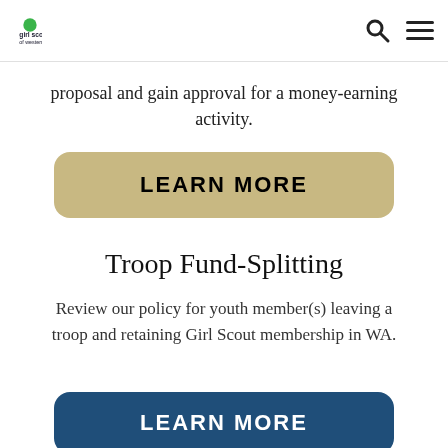girl scouts of western washington
proposal and gain approval for a money-earning activity.
LEARN MORE
Troop Fund-Splitting
Review our policy for youth member(s) leaving a troop and retaining Girl Scout membership in WA.
LEARN MORE